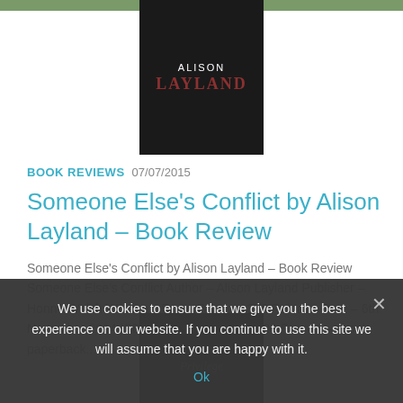[Figure (photo): Book cover for 'Someone Else's Conflict' by Alison Layland, dark background with author name in white and book title in dark red/maroon text]
BOOK REVIEWS 07/07/2015
Someone Else's Conflict by Alison Layland – Book Review
Someone Else's Conflict by Alison Layland – Book Review Someone Else's Conflict Author – Alison Layland Publisher – Honno Welsh Women's Press Pages – 352 Release Date – 6th November 2014 ISBN-13 – 978-1909983120 Format – ebook, paperback...
We use cookies to ensure that we give you the best experience on our website. If you continue to use this site we will assume that you are happy with it.
Ok